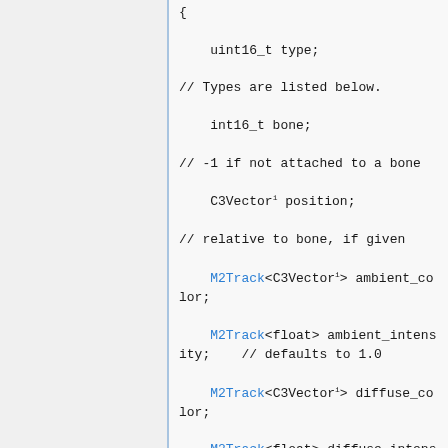{ uint16_t type; // Types are listed below. int16_t bone; // -1 if not attached to a bone C3Vector position; // relative to bone, if given M2Track<C3Vector> ambient_color; M2Track<float> ambient_intensity; // defaults to 1.0 M2Track<C3Vector> diffuse_color; M2Track<float> diffuse_intensity; // defaults to 1.0 M2Track<float> attenuation_start; M2Track<float> attenuation_end; M2Track<uchar> visibility; // enabled?